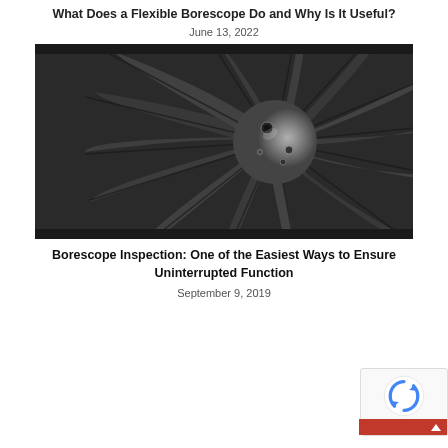What Does a Flexible Borescope Do and Why Is It Useful?
June 13, 2022
[Figure (photo): Close-up black and white photograph of a jet engine turbine fan blade assembly viewed from the front, showing radial fan blades arranged around a central dome-shaped hub with lens openings.]
Borescope Inspection: One of the Easiest Ways to Ensure Uninterrupted Function
September 9, 2019